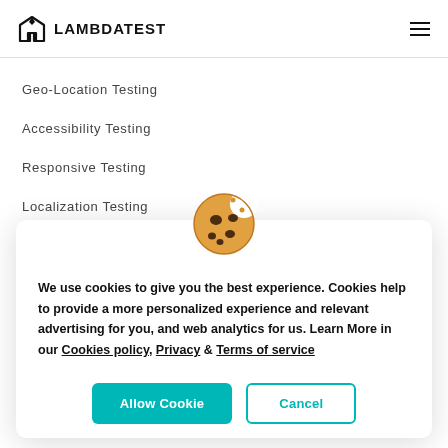LAMBDATEST
Geo-Location Testing
Accessibility Testing
Responsive Testing
Localization Testing
[Figure (illustration): Cookie emoji illustration]
We use cookies to give you the best experience. Cookies help to provide a more personalized experience and relevant advertising for you, and web analytics for us. Learn More in our Cookies policy, Privacy & Terms of service
Allow Cookie | Cancel